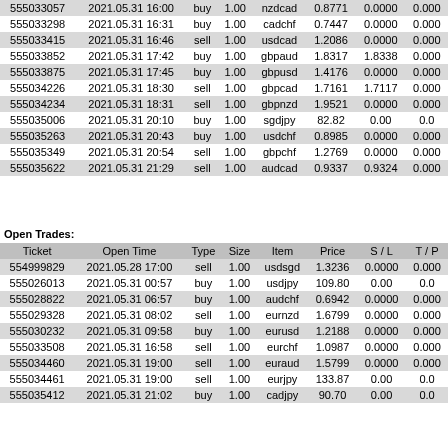| Ticket | Open Time | Type | Size | Item | Price | S / L | T / P |
| --- | --- | --- | --- | --- | --- | --- | --- |
| 555033057 | 2021.05.31 16:00 | buy | 1.00 | nzdcad | 0.8771 | 0.0000 | 0.000 |
| 555033298 | 2021.05.31 16:31 | buy | 1.00 | cadchf | 0.7447 | 0.0000 | 0.000 |
| 555033415 | 2021.05.31 16:46 | sell | 1.00 | usdcad | 1.2086 | 0.0000 | 0.000 |
| 555033852 | 2021.05.31 17:42 | buy | 1.00 | gbpaud | 1.8317 | 1.8338 | 0.000 |
| 555033875 | 2021.05.31 17:45 | buy | 1.00 | gbpusd | 1.4176 | 0.0000 | 0.000 |
| 555034226 | 2021.05.31 18:30 | sell | 1.00 | gbpcad | 1.7161 | 1.7117 | 0.000 |
| 555034234 | 2021.05.31 18:31 | sell | 1.00 | gbpnzd | 1.9521 | 0.0000 | 0.000 |
| 555035006 | 2021.05.31 20:10 | buy | 1.00 | sgdjpy | 82.82 | 0.00 | 0.0 |
| 555035263 | 2021.05.31 20:43 | buy | 1.00 | usdchf | 0.8985 | 0.0000 | 0.000 |
| 555035349 | 2021.05.31 20:54 | sell | 1.00 | gbpchf | 1.2769 | 0.0000 | 0.000 |
| 555035622 | 2021.05.31 21:29 | sell | 1.00 | audcad | 0.9337 | 0.9324 | 0.000 |
Open Trades:
| Ticket | Open Time | Type | Size | Item | Price | S / L | T / P |
| --- | --- | --- | --- | --- | --- | --- | --- |
| 554999829 | 2021.05.28 17:00 | sell | 1.00 | usdsgd | 1.3236 | 0.0000 | 0.000 |
| 555026013 | 2021.05.31 00:57 | buy | 1.00 | usdjpy | 109.80 | 0.00 | 0.0 |
| 555028822 | 2021.05.31 06:57 | buy | 1.00 | audchf | 0.6942 | 0.0000 | 0.000 |
| 555029328 | 2021.05.31 08:02 | sell | 1.00 | eurnzd | 1.6799 | 0.0000 | 0.000 |
| 555030232 | 2021.05.31 09:58 | buy | 1.00 | eurusd | 1.2188 | 0.0000 | 0.000 |
| 555033508 | 2021.05.31 16:58 | sell | 1.00 | eurchf | 1.0987 | 0.0000 | 0.000 |
| 555034460 | 2021.05.31 19:00 | sell | 1.00 | euraud | 1.5799 | 0.0000 | 0.000 |
| 555034461 | 2021.05.31 19:00 | sell | 1.00 | eurjpy | 133.87 | 0.00 | 0.0 |
| 555035412 | 2021.05.31 21:02 | buy | 1.00 | cadjpy | 90.70 | 0.00 | 0.0 |